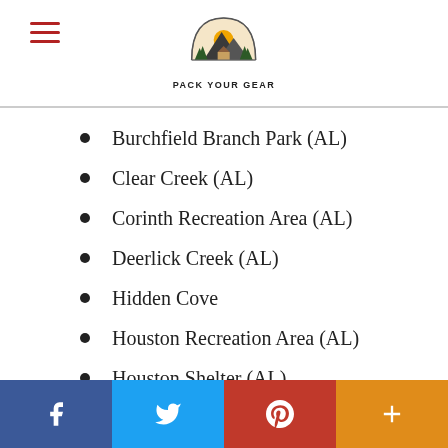Pack Your Gear
Burchfield Branch Park (AL)
Clear Creek (AL)
Corinth Recreation Area (AL)
Deerlick Creek (AL)
Hidden Cove
Houston Recreation Area (AL)
Houston Shelter (AL)
Jp Coleman
f  t  p  +